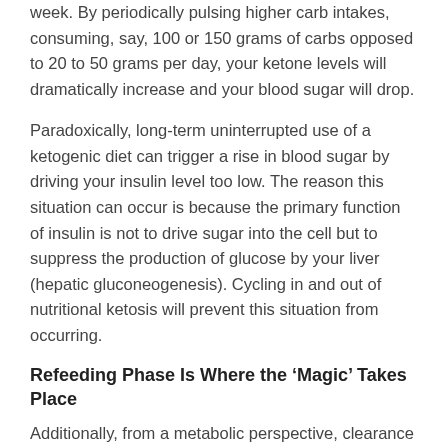week. By periodically pulsing higher carb intakes, consuming, say, 100 or 150 grams of carbs opposed to 20 to 50 grams per day, your ketone levels will dramatically increase and your blood sugar will drop.
Paradoxically, long-term uninterrupted use of a ketogenic diet can trigger a rise in blood sugar by driving your insulin level too low. The reason this situation can occur is because the primary function of insulin is not to drive sugar into the cell but to suppress the production of glucose by your liver (hepatic gluconeogenesis). Cycling in and out of nutritional ketosis will prevent this situation from occurring.
Refeeding Phase Is Where the ‘Magic’ Takes Place
Additionally, from a metabolic perspective, clearance of damaged cell and cell content occurs during the fasting phase (much in the same way exercise produces damage to your muscles) while the “metabolic magic” of rejuvenation occurs during the refeeding phase. This is when cells and tissues are rebuilt.
As just one example, recent research shows fasting actually triggers the regeneration of the pancreas in both type 1 and